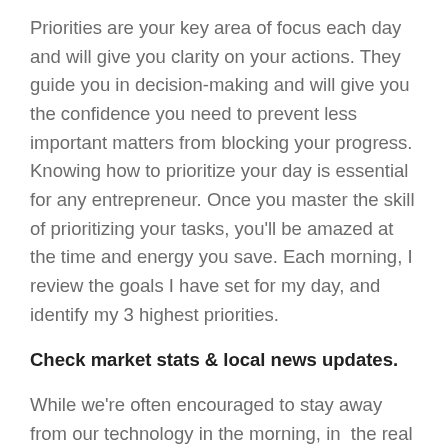Priorities are your key area of focus each day and will give you clarity on your actions. They guide you in decision-making and will give you the confidence you need to prevent less important matters from blocking your progress. Knowing how to prioritize your day is essential for any entrepreneur. Once you master the skill of prioritizing your tasks, you'll be amazed at the time and energy you save. Each morning, I review the goals I have set for my day, and identify my 3 highest priorities.
Check market stats & local news updates.
While we're often encouraged to stay away from our technology in the morning, in the real estate industry, it's important to be equipped with the most up to date information as you head into each day. When you're asked